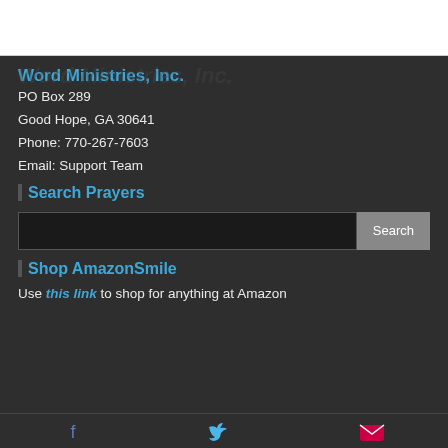Word Ministries, Inc.
PO Box 289
Good Hope, GA 30641
Phone: 770-267-7603
Email: Support Team
Search Prayers
Shop AmazonSmile
Use this link to shop for anything at Amazon
Facebook | Twitter | Email